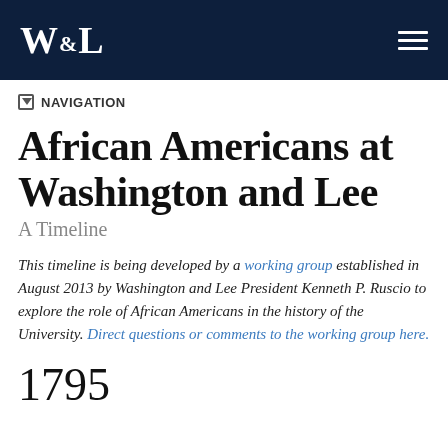[Figure (logo): Washington and Lee University logo — stylized W&L in white on dark navy header bar, with hamburger menu icon on the right]
NAVIGATION
African Americans at Washington and Lee
A Timeline
This timeline is being developed by a working group established in August 2013 by Washington and Lee President Kenneth P. Ruscio to explore the role of African Americans in the history of the University. Direct questions or comments to the working group here.
1795